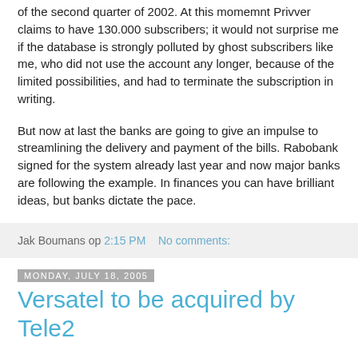of the second quarter of 2002. At this momemnt Privver claims to have 130.000 subscribers; it would not surprise me if the database is strongly polluted by ghost subscribers like me, who did not use the account any longer, because of the limited possibilities, and had to terminate the subscription in writing.
But now at last the banks are going to give an impulse to streamlining the delivery and payment of the bills. Rabobank signed for the system already last year and now major banks are following the example. In finances you can have brilliant ideas, but banks dictate the pace.
Jak Boumans op 2:15 PM   No comments:
Monday, July 18, 2005
Versatel to be acquired by Tele2
Wow, this is a surprise, this news release. Versatel will be acquired by the Swedish telecom operator Tele2 and the